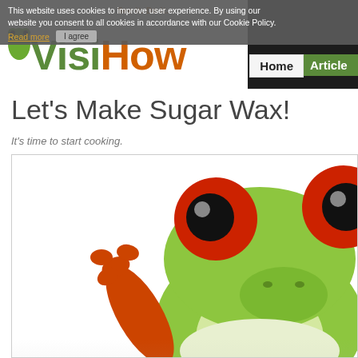VisiHow – See it. Do it.
This website uses cookies to improve user experience. By using our website you consent to all cookies in accordance with our Cookie Policy. Read more | I agree
Home | Articles
Let's Make Sugar Wax!
It's time to start cooking.
[Figure (illustration): Cartoon green tree frog with large red eyes, raising one orange hand/arm, set against a white background. The frog appears to be gesturing or waving.]